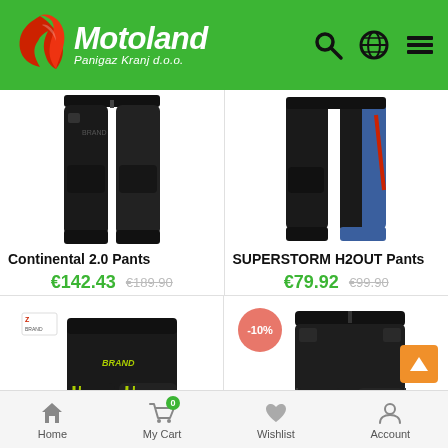Motoland Panigaz Kranj d.o.o.
[Figure (screenshot): Black motorcycle pants (Continental 2.0 Pants) on white background]
[Figure (screenshot): Black and blue motorcycle pants (SUPERSTORM H2OUT Pants) on white background]
Continental 2.0 Pants
€142.43  €189.90
SUPERSTORM H2OUT Pants
€79.92  €99.90
[Figure (screenshot): Black and green motorcycle shorts with brand logo]
[Figure (screenshot): Black motorcycle 3/4 pants with -10% discount badge]
Home   My Cart  0   Wishlist   Account